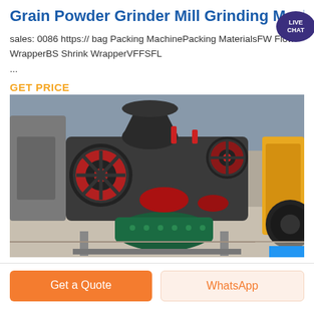Grain Powder Grinder Mill Grinding Machine
sales: 0086 https:// bag Packing MachinePacking MaterialsFW Flow WrapperBS Shrink WrapperVFFSFL
...
GET PRICE
[Figure (photo): Industrial grain powder grinder mill grinding machine in a factory setting, showing large black and red cylindrical grinding components with a green electric motor, mounted on a metal frame on a factory floor.]
Get a Quote
WhatsApp